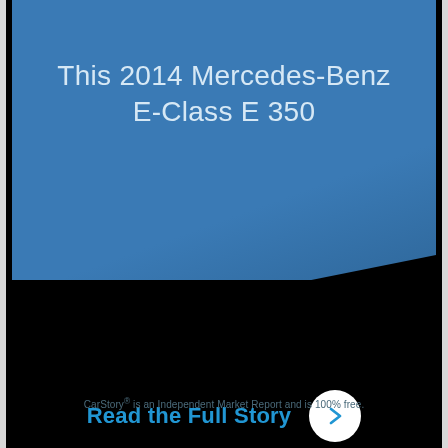This 2014 Mercedes-Benz E-Class E 350
Read the Full Story
CarStory® is an Independent Market Report and is 100% free.